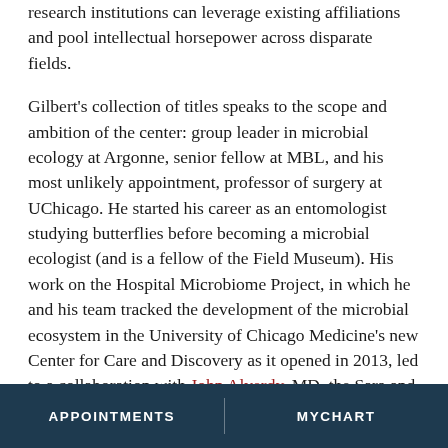research institutions can leverage existing affiliations and pool intellectual horsepower across disparate fields.
Gilbert's collection of titles speaks to the scope and ambition of the center: group leader in microbial ecology at Argonne, senior fellow at MBL, and his most unlikely appointment, professor of surgery at UChicago. He started his career as an entomologist studying butterflies before becoming a microbial ecologist (and is a fellow of the Field Museum). His work on the Hospital Microbiome Project, in which he and his team tracked the development of the microbial ecosystem in the University of Chicago Medicine's new Center for Care and Discovery as it opened in 2013, led to a collaboration with John Alverdy, MD, the Sara and Harold Lincoln Thompson Professor of Surgery, who is working to prevent infections after surgery.
"It's really bizarre. But here I am sitting in my office in the Department of Surgery, so I guess it is real," Gilbert said. "I can be in my own laboratory, think about
APPOINTMENTS   MYCHART